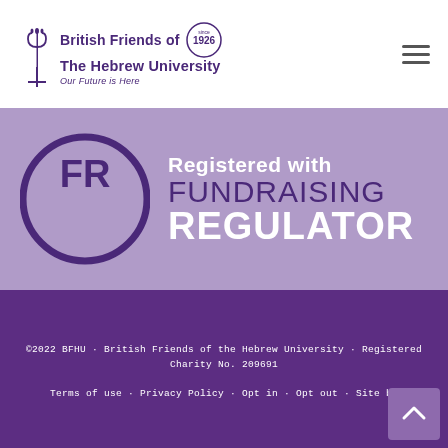[Figure (logo): British Friends of The Hebrew University logo with menorah icon and 'since 1926' badge. Tagline: Our Future is Here]
[Figure (logo): Fundraising Regulator badge — circular FR logo with text 'Registered with FUNDRAISING REGULATOR' on purple/lavender background]
©2022 BFHU · British Friends of the Hebrew University · Registered Charity No. 209691
Terms of use · Privacy Policy · Opt in · Opt out · Site by